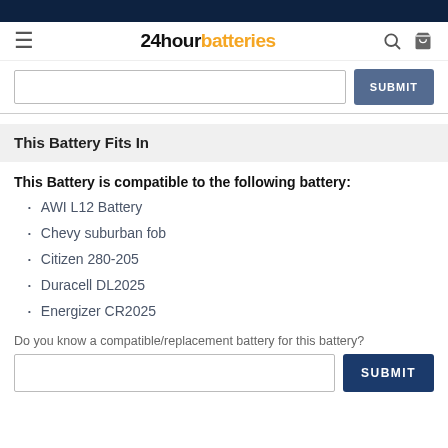24hourbatteries
This Battery Fits In
This Battery is compatible to the following battery:
AWI L12 Battery
Chevy suburban fob
Citizen 280-205
Duracell DL2025
Energizer CR2025
Do you know a compatible/replacement battery for this battery?